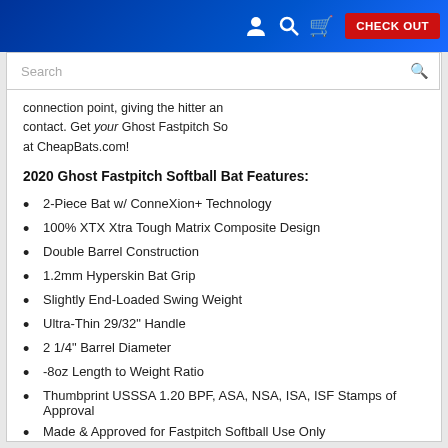CHECK OUT
connection point, giving the hitter an contact. Get your Ghost Fastpitch So at CheapBats.com!
2020 Ghost Fastpitch Softball Bat Features:
2-Piece Bat w/ ConneXion+ Technology
100% XTX Xtra Tough Matrix Composite Design
Double Barrel Construction
1.2mm Hyperskin Bat Grip
Slightly End-Loaded Swing Weight
Ultra-Thin 29/32" Handle
2 1/4" Barrel Diameter
-8oz Length to Weight Ratio
Thumbprint USSSA 1.20 BPF, ASA, NSA, ISA, ISF Stamps of Approval
Made & Approved for Fastpitch Softball Use Only
One Year Manufacturer Warranty